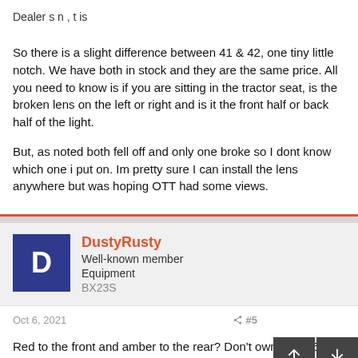Dealer s n , t is
So there is a slight difference between 41 & 42, one tiny little notch. We have both in stock and they are the same price. All you need to know is if you are sitting in the tractor seat, is the broken lens on the left or right and is it the front half or back half of the light.
But, as noted both fell off and only one broke so I dont know which one i put on. Im pretty sure I can install the lens anywhere but was hoping OTT had some views.
DustyRusty
Well-known member
Equipment
BX23S
Oct 6, 2021
#5
Red to the front and amber to the rear? Don't own a BX25, so